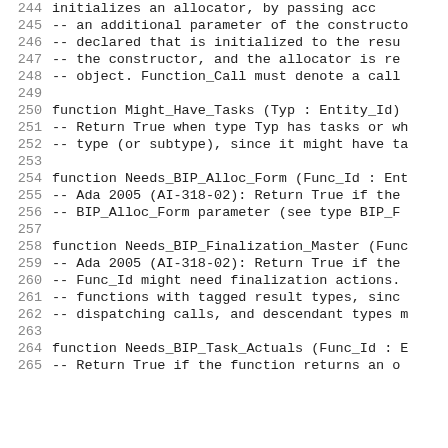244    initializes an allocator, by passing acc...
245    --  an additional parameter of the constructo...
246    --  declared that is initialized to the resu...
247    --  the constructor, and the allocator is re...
248    --  object. Function_Call must denote a call...
249
250    function Might_Have_Tasks (Typ : Entity_Id)...
251    --  Return True when type Typ has tasks or wh...
252    --  type (or subtype), since it might have ta...
253
254    function Needs_BIP_Alloc_Form (Func_Id : Ent...
255    --  Ada 2005 (AI-318-02): Return True if the...
256    --  BIP_Alloc_Form parameter (see type BIP_F...
257
258    function Needs_BIP_Finalization_Master (Func...
259    --  Ada 2005 (AI-318-02): Return True if the...
260    --  Func_Id might need finalization actions....
261    --  functions with tagged result types, sinc...
262    --  dispatching calls, and descendant types m...
263
264    function Needs_BIP_Task_Actuals (Func_Id : E...
265    --  Return True if the function returns an o...